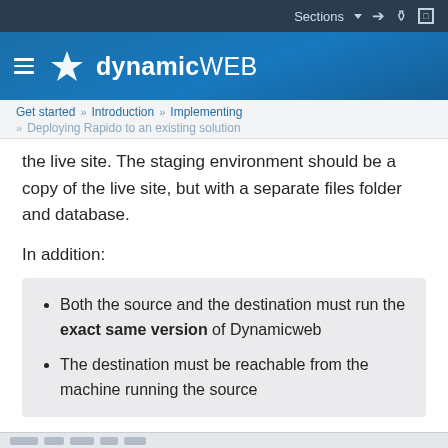Sections
dynamic WEB
Get started » Introduction » Implementing
» Deploying Rapido to an existing solution
the live site. The staging environment should be a copy of the live site, but with a separate files folder and database.
In addition:
Both the source and the destination must run the exact same version of Dynamicweb
The destination must be reachable from the machine running the source